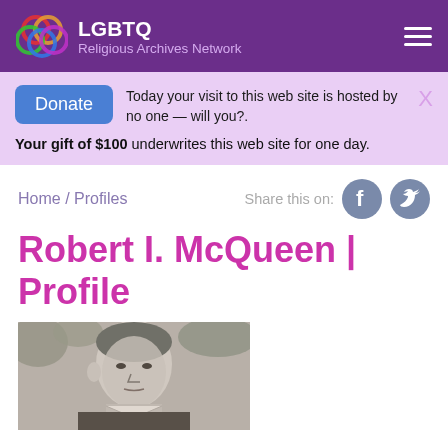LGBTQ Religious Archives Network
Today your visit to this web site is hosted by no one — will you?. Your gift of $100 underwrites this web site for one day.
Home / Profiles   Share this on:
Robert I. McQueen | Profile
[Figure (photo): Black and white profile photograph of Robert I. McQueen]